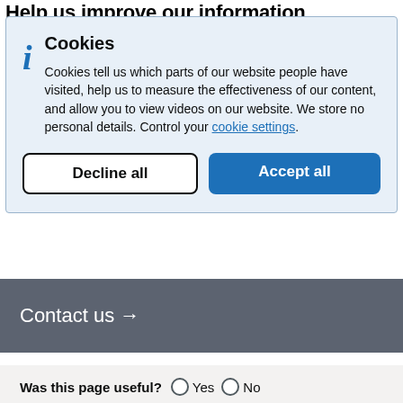Help us improve our information
Cookies
Cookies tell us which parts of our website people have visited, help us to measure the effectiveness of our content, and allow you to view videos on our website. We store no personal details. Control your cookie settings.
Contact us →
Was this page useful?  ○ Yes  ○ No
Is there anything wrong with this page?